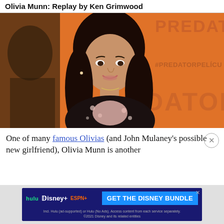Olivia Munn: Replay by Ken Grimwood
[Figure (photo): Olivia Munn at a Predator movie premiere, standing in front of an orange backdrop with text 'PREDATOR' and '#PREDATORPELICULA'. She is wearing a black floral jacket and pink top.]
One of many famous Olivias (and John Mulaney's possible new girlfriend), Olivia Munn is another
[Figure (other): Hulu Disney+ ESPN+ 'GET THE DISNEY BUNDLE' advertisement banner. Incl. Hulu (ad-supported) or Hulu (No Ads). Access content from each service separately. ©2021 Disney and its related entities]